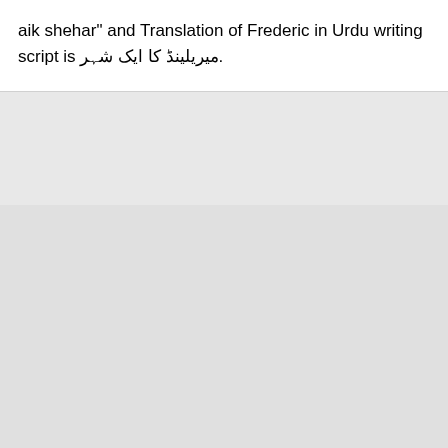aik shehar" and Translation of Frederic in Urdu writing script is میریلینڈ کا ایک شہر.